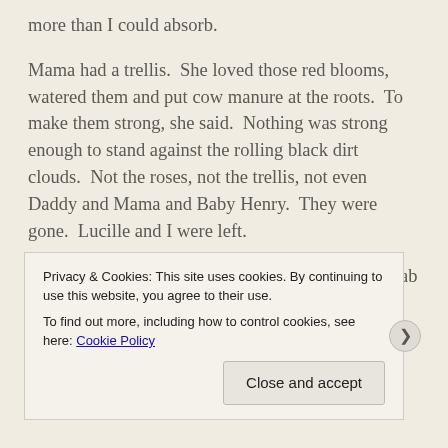more than I could absorb.
Mama had a trellis.  She loved those red blooms, watered them and put cow manure at the roots.  To make them strong, she said.  Nothing was strong enough to stand against the rolling black dirt clouds.  Not the roses, not the trellis, not even Daddy and Mama and Baby Henry.  They were gone.  Lucille and I were left.
It seemed strange to find color in this black and drab world.  The dirt was everywhere.  Aunt Gert
Privacy & Cookies: This site uses cookies. By continuing to use this website, you agree to their use.
To find out more, including how to control cookies, see here: Cookie Policy